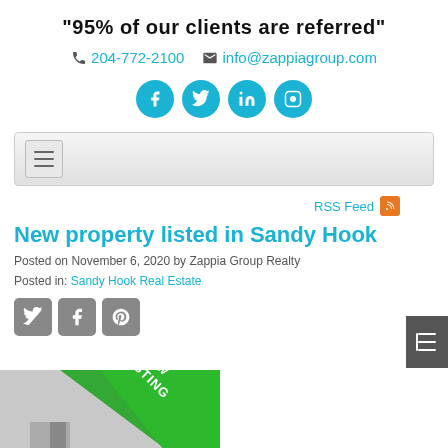"95% of our clients are referred"
204-772-2100   info@zappiagroup.com
[Figure (infographic): Four teal social media icons: Facebook, Twitter, LinkedIn, Instagram]
[Figure (infographic): Navigation bar with hamburger menu icon]
[Figure (infographic): Sidebar toggle tab (dark grey with lines icon)]
RSS Feed
New property listed in Sandy Hook
Posted on November 6, 2020 by Zappia Group Realty
Posted in: Sandy Hook Real Estate
[Figure (infographic): Share icons: Twitter, Facebook, Pinterest]
[Figure (photo): Partial view of a property listing image with a green 'NEW LISTING' banner diagonal across the corner]